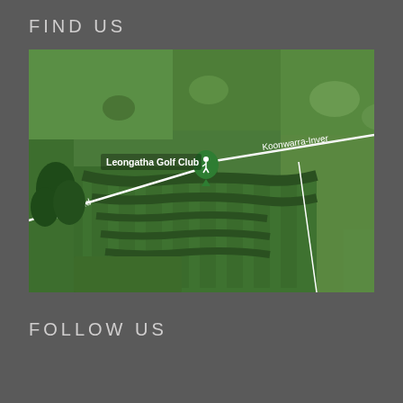FIND US
[Figure (map): Aerial satellite map showing Leongatha Golf Club location with roads labeled: Koonwarra-Inver and erloch Rd, with a green map pin marker on the golf club]
FOLLOW US
[Figure (other): Social media icons: Twitter (bird), Facebook, Instagram]